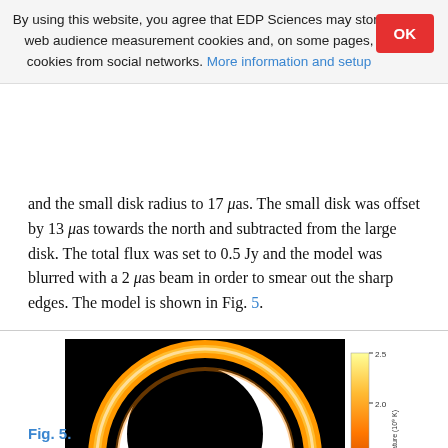By using this website, you agree that EDP Sciences may store web audience measurement cookies and, on some pages, cookies from social networks. More information and setup
and the small disk radius to 17 μas. The small disk was offset by 13 μas towards the north and subtracted from the large disk. The total flux was set to 0.5 Jy and the model was blurred with a 2 μas beam in order to smear out the sharp edges. The model is shown in Fig. 5.
[Figure (other): Brightness temperature map showing a crescent/ring-shaped emission structure on a black background. The image shows a bright crescent arc on the right and bottom with a dark interior region offset to the upper left. A horizontal white scale bar is visible at the bottom. A vertical colorbar on the right ranges from approximately 0.5 to 2.5 (units: Brightness Temperature 10^9 K).]
Fig. 5.